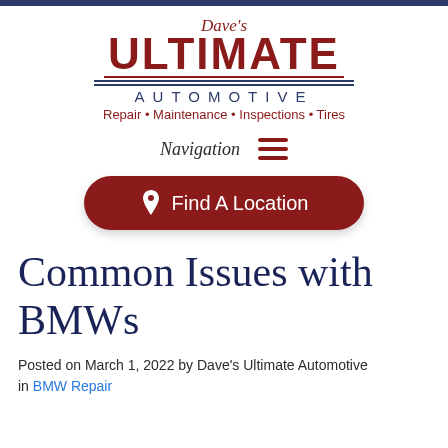[Figure (logo): Dave's Ultimate Automotive logo with red ULTIMATE text, navy AUTOMOTIVE text, decorative lines, and tagline 'Repair • Maintenance • Inspections • Tires']
Navigation ≡
📍 Find A Location
Common Issues with BMWs
Posted on March 1, 2022 by Dave's Ultimate Automotive in BMW Repair